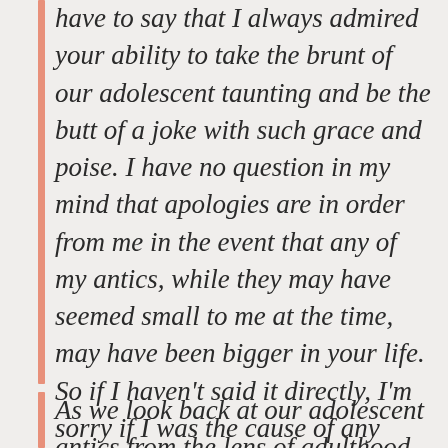have to say that I always admired your ability to take the brunt of our adolescent taunting and be the butt of a joke with such grace and poise. I have no question in my mind that apologies are in order from me in the event that any of my antics, while they may have seemed small to me at the time, may have been bigger in your life. So if I haven't said it directly, I'm sorry if I was the cause of any lasting pain in your life.
As we look back at our adolescent antics from the lens of adulthood,